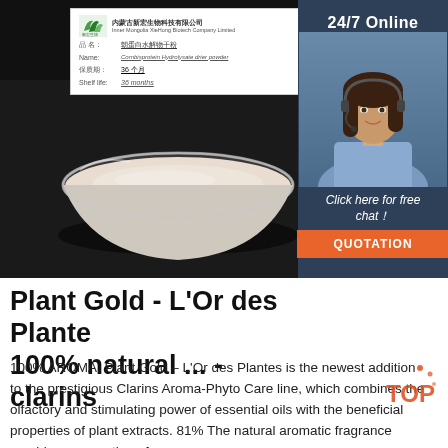[Figure (photo): Product photo showing a white powder in a glass bowl on dark background, with a label card showing 'Inner Mongolia XieHong Biotech Company Limited', product name in Chinese and 'Cornbisprotein Hydrolysate drier powder', shelf life 36 months. Beside the photo is a dark blue panel with '24/7 Online' text and a female customer service agent photo, and below 'Click here for free chat!' with a QUOTATION orange button.]
Plant Gold - L'Or des Plantes 100% natural ... - clarins
100% AROMA. Plant Gold – L'Or des Plantes is the newest addition to the prestigious Clarins Aroma-Phyto Care line, which combines the olfactory and stimulating power of essential oils with the beneficial properties of plant extracts. 81% The natural aromatic fragrance provides a sensation of